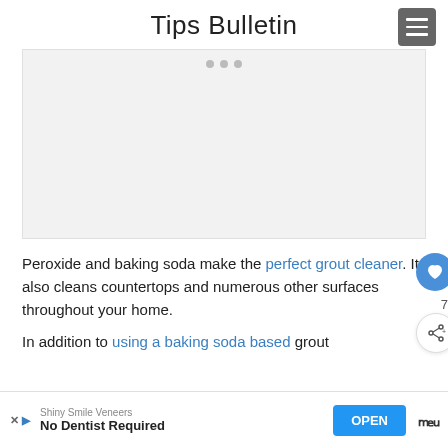Tips Bulletin
[Figure (other): Gray advertisement placeholder box with three dots at the top center]
Peroxide and baking soda make the perfect grout cleaner. It also cleans countertops and numerous other surfaces throughout your home.
In addition to using a baking soda based grout cleaner...